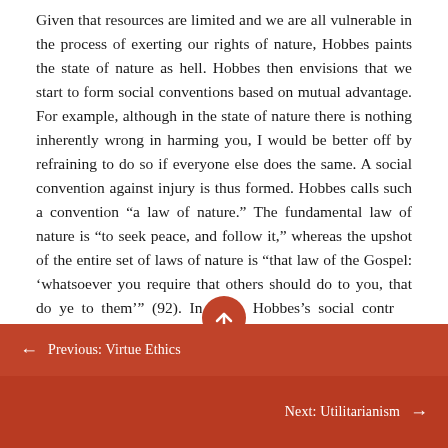Given that resources are limited and we are all vulnerable in the process of exerting our rights of nature, Hobbes paints the state of nature as hell. Hobbes then envisions that we start to form social conventions based on mutual advantage. For example, although in the state of nature there is nothing inherently wrong in harming you, I would be better off by refraining to do so if everyone else does the same. A social convention against injury is thus formed. Hobbes calls such a convention “a law of nature.” The fundamental law of nature is “to seek peace, and follow it,” whereas the upshot of the entire set of laws of nature is “that law of the Gospel: ‘whatsoever you require that others should do to you, that do ye to them’” (92). In short, Hobbes’s social contract theory claims that moral
← Previous: Virtue Ethics
Next: Utilitarianism →